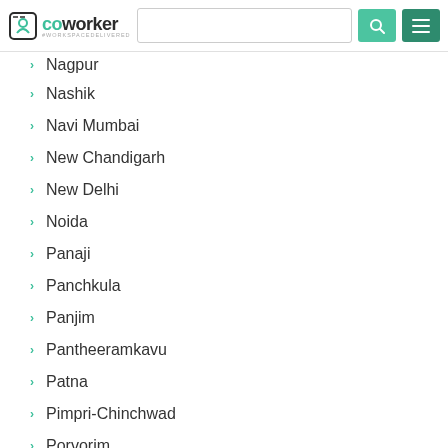coworker — navigation header with search
Nagpur
Nashik
Navi Mumbai
New Chandigarh
New Delhi
Noida
Panaji
Panchkula
Panjim
Pantheeramkavu
Patna
Pimpri-Chinchwad
Porvorim
Prayagraj
Puducherry